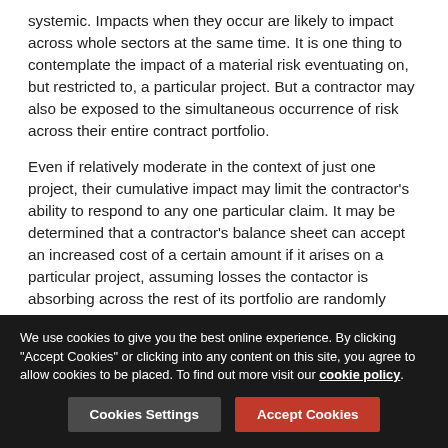systemic. Impacts when they occur are likely to impact across whole sectors at the same time. It is one thing to contemplate the impact of a material risk eventuating on, but restricted to, a particular project. But a contractor may also be exposed to the simultaneous occurrence of risk across their entire contract portfolio.
Even if relatively moderate in the context of just one project, their cumulative impact may limit the contractor's ability to respond to any one particular claim. It may be determined that a contractor's balance sheet can accept an increased cost of a certain amount if it arises on a particular project, assuming losses the contactor is absorbing across the rest of its portfolio are randomly distributed in accordance with historic sector norms. It is less clear whether the contractor's balance sheet will be able to absorb that level of loss occurring across
We use cookies to give you the best online experience. By clicking "Accept Cookies" or clicking into any content on this site, you agree to allow cookies to be placed. To find out more visit our cookie policy.